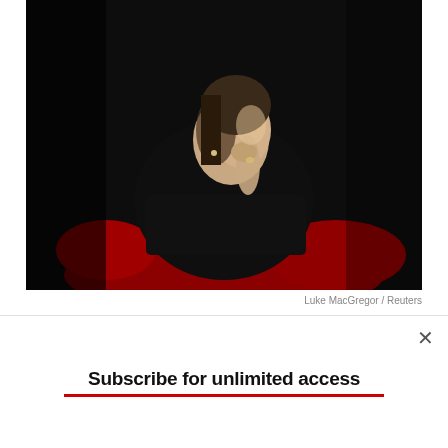[Figure (photo): A woman in a black outfit seated in a red chair against a dark black background, hand raised to her chin, looking upward thoughtfully. The photo is dramatically lit with high contrast.]
Luke MacGregor / Reuters
CONTEMPORARIES
In 2000, Angelina Jolie, who
Subscribe for unlimited access